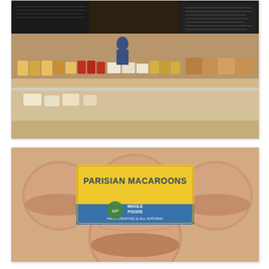[Figure (photo): Interior of a Whole Foods Market store showing a cheese/specialty foods counter with products displayed and an employee behind the counter. Chalkboard signage visible in the background.]
[Figure (photo): Package of Whole Foods Market Parisian Macaroons with a yellow and blue label reading 'PARISIAN MACAROONS - Whole Foods - HAND-CRAFTED & ALL NATURAL'. Several round beige macaroons visible through clear packaging.]
[Figure (photo): A chalkboard sign at Whole Foods butcher counter reading 'OUR BUTCHERS WILL BE HAPPY TO CUSTOM CUT MEAT TO YOUR ORDER.' with a meat/cleaver illustration on the left.]
[Figure (photo): A chalkboard sign reading 'OUR CHICKEN IS CHILLIN'!' followed by text 'The process of Air Chilling assures that chickens retain their natural juices resulting in superior flavor and...']